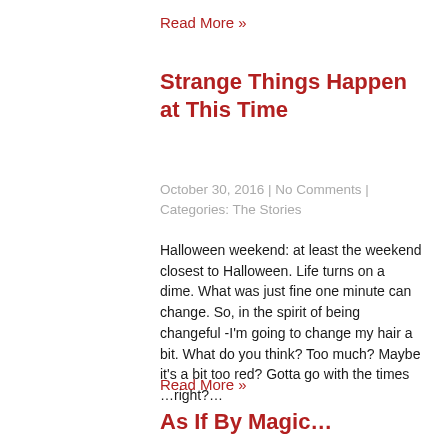Read More »
Strange Things Happen at This Time
October 30, 2016 | No Comments | Categories: The Stories
Halloween weekend: at least the weekend closest to Halloween.  Life turns on a dime.  What was just fine one minute can change.  So, in the spirit of being changeful -I'm going to change my hair a bit.  What do you think?  Too much?  Maybe it's a bit too red? Gotta go with the times …right?…
Read More »
As If By Magic…
October 30, 2016 | No Comments | Categories: The Stories